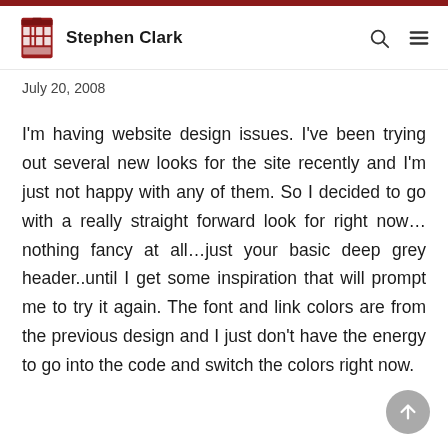Stephen Clark
July 20, 2008
I'm having website design issues. I've been trying out several new looks for the site recently and I'm just not happy with any of them. So I decided to go with a really straight forward look for right now…nothing fancy at all…just your basic deep grey header..until I get some inspiration that will prompt me to try it again. The font and link colors are from the previous design and I just don't have the energy to go into the code and switch the colors right now.